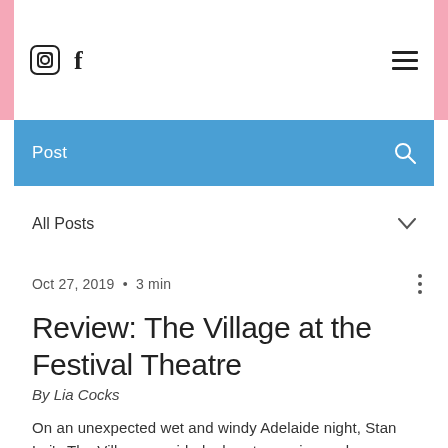Instagram  Facebook  [hamburger menu]
Post
All Posts
Oct 27, 2019  •  3 min
Review: The Village at the Festival Theatre
By Lia Cocks
On an unexpected wet and windy Adelaide night, Stan Lai's The Village provided a heart-warming and